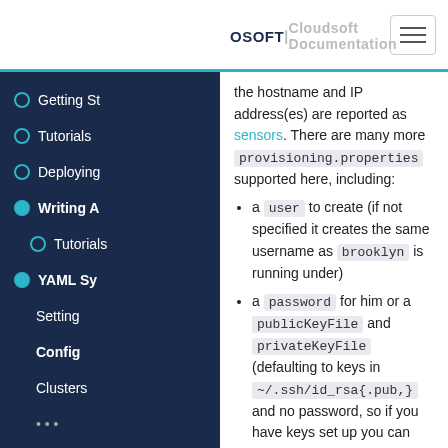OSOFT | Cloudsoft Documentation
the hostname and IP address(es) are reported as sensors. There are many more provisioning.properties supported here, including:
a user to create (if not specified it creates the same username as brooklyn is running under)
a password for him or a publicKeyFile and privateKeyFile (defaulting to keys in ~/.ssh/id_rsa{.pub,} and no password, so if you have keys set up you can